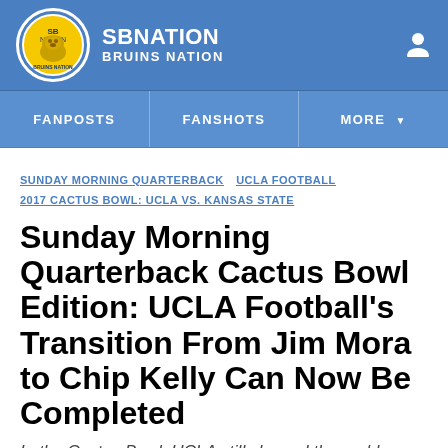[Figure (logo): SB Nation Bruins Nation website header with logo, site name, and user icon on blue background]
FANPOSTS  FANSHOTS  MORE
SUNDAY MORNING QUARTERBACK  UCLA FOOTBALL  2017 CACTUS BOWL: UCLA VS. KANSAS STATE
Sunday Morning Quarterback Cactus Bowl Edition: UCLA Football's Transition From Jim Mora to Chip Kelly Can Now Be Completed
In the Cactus Bowl, UCLA still showed the problems that plagued the Jim Mora era.